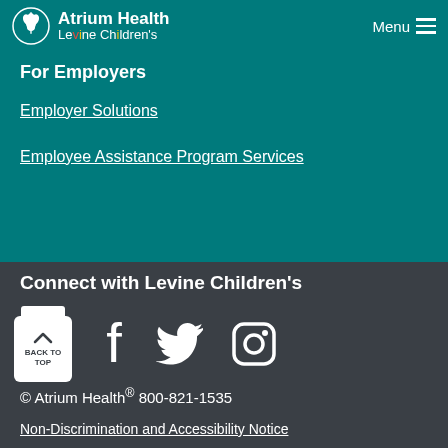Atrium Health Levine Children's — Menu
For Employers
Employer Solutions
Employee Assistance Program Services
Connect with Levine Children's
BACK TO TOP
© Atrium Health® 800-821-1535
Non-Discrimination and Accessibility Notice